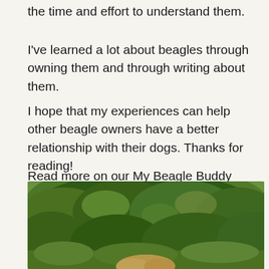the time and effort to understand them.
I've learned a lot about beagles through owning them and through writing about them.
I hope that my experiences can help other beagle owners have a better relationship with their dogs. Thanks for reading!
Read more on our My Beagle Buddy about us page.
[Figure (photo): Outdoor photo showing a person (top of head visible at bottom) in front of lush green trees and bushes in natural lighting]